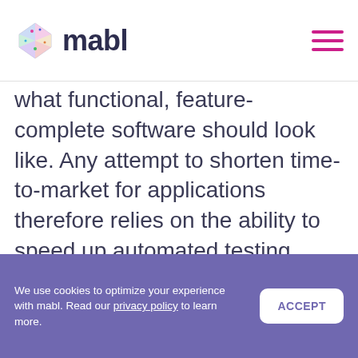mabl
what functional, feature-complete software should look like. Any attempt to shorten time-to-market for applications therefore relies on the ability to speed up automated testing without losing accuracy.
Selenium has been a gold standard for automated testing since 2004. It can provide recording and playback with ease,
We use cookies to optimize your experience with mabl. Read our privacy policy to learn more.